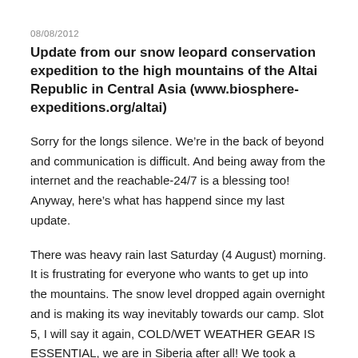08/08/2012
Update from our snow leopard conservation expedition to the high mountains of the Altai Republic in Central Asia (www.biosphere-expeditions.org/altai)
Sorry for the longs silence. We’re in the back of beyond and communication is difficult. And being away from the internet and the reachable-24/7 is a blessing too! Anyway, here’s what has happend since my last update.
There was heavy rain last Saturday (4 August) morning. It is frustrating for everyone who wants to get up into the mountains. The snow level dropped again overnight and is making its way inevitably towards our camp. Slot 5, I will say it again, COLD/WET WEATHER GEAR IS ESSENTIAL, we are in Siberia after all! We took a journey away from camp today to visit a local museum. It was